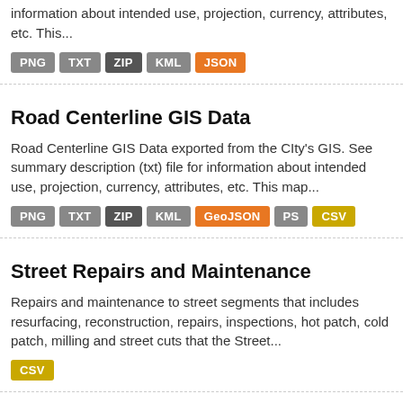information about intended use, projection, currency, attributes, etc. This...
PNG TXT ZIP KML JSON
Road Centerline GIS Data
Road Centerline GIS Data exported from the CIty's GIS. See summary description (txt) file for information about intended use, projection, currency, attributes, etc. This map...
PNG TXT ZIP KML GeoJSON PS CSV
Street Repairs and Maintenance
Repairs and maintenance to street segments that includes resurfacing, reconstruction, repairs, inspections, hot patch, cold patch, milling and street cuts that the Street...
CSV